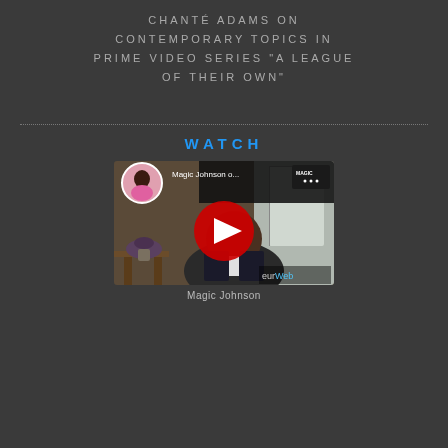CHANTÉ ADAMS ON CONTEMPORARY TOPICS IN PRIME VIDEO SERIES “A LEAGUE OF THEIR OWN”
[Figure (screenshot): YouTube video thumbnail showing Magic Johnson being interviewed, with a circular profile picture of a woman in pink in the upper left, text 'Magic Johnson o...' and a YouTube play button overlay. Bottom right shows 'eurWeb' watermark.]
Magic Johnson